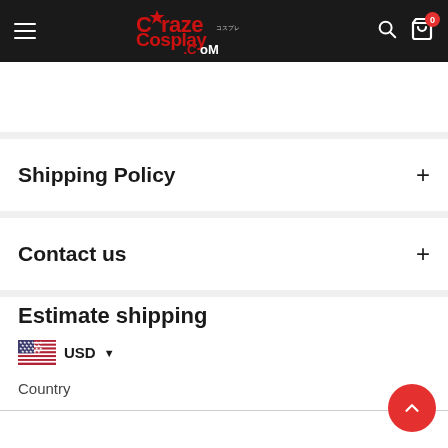CrazeCosplay.com navigation bar
Shipping Policy
Contact us
Estimate shipping
USD
Country